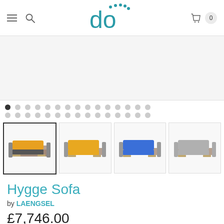[Figure (logo): do design store logo in teal with dots above the letter o]
[Figure (photo): Main product image area showing Hygge Sofa (partially visible / white area)]
[Figure (photo): Four product thumbnail images of the Hygge Sofa in different colors: orange/dark, yellow, blue, grey]
Hygge Sofa
by LAENGSEL
£7,746.00